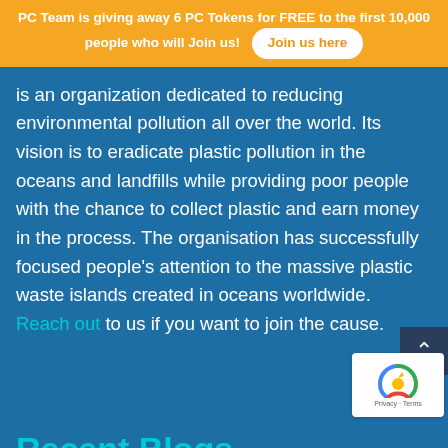PC Team is giving away 6 PC Tokens for FREE to the first 10,000 people who will Join us! Join us here
is an organization dedicated to reducing environmental pollution all over the world. Its vision is to eradicate plastic pollution in the oceans and landfills while providing poor people with the chance to collect plastic and earn money in the process. The organisation has successfully focused people's attention to the massive plastic waste islands created in oceans worldwide. Reach out to us if you want to join the cause.
Recent Blogs